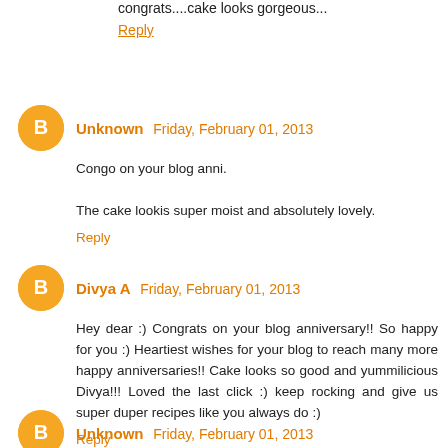congrats....cake looks gorgeous...
Reply
Unknown  Friday, February 01, 2013
Congo on your blog anni.

The cake lookis super moist and absolutely lovely.
Reply
Divya A  Friday, February 01, 2013
Hey dear :) Congrats on your blog anniversary!! So happy for you :) Heartiest wishes for your blog to reach many more happy anniversaries!! Cake looks so good and yummilicious Divya!!! Loved the last click :) keep rocking and give us super duper recipes like you always do :)
Reply
Unknown  Friday, February 01, 2013